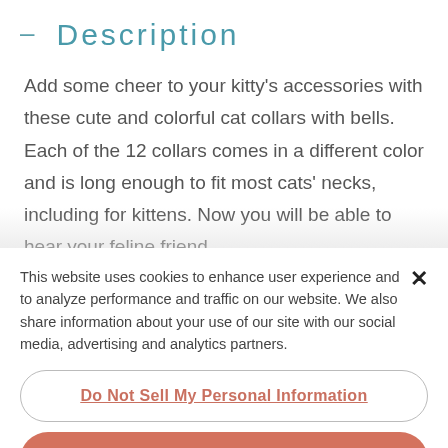— Description
Add some cheer to your kitty's accessories with these cute and colorful cat collars with bells. Each of the 12 collars comes in a different color and is long enough to fit most cats' necks, including for kittens. Now you will be able to hear your feline friend
This website uses cookies to enhance user experience and to analyze performance and traffic on our website. We also share information about your use of our site with our social media, advertising and analytics partners.
Do Not Sell My Personal Information
Accept Cookies